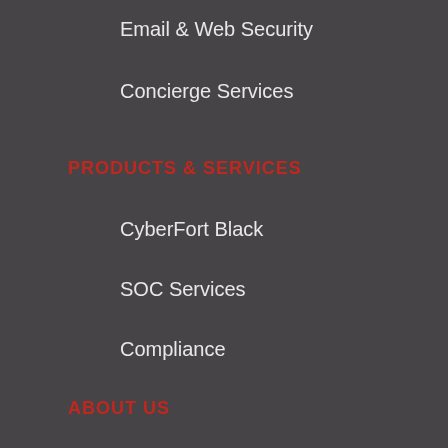Email & Web Security
Concierge Services
PRODUCTS & SERVICES
CyberFort Black
SOC Services
Compliance
ABOUT US
Company
Free Consultation